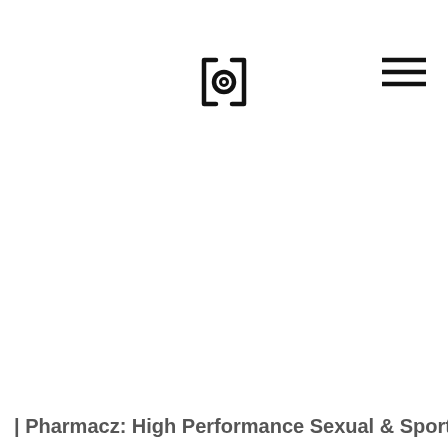[Figure (logo): Camera icon — square bracket style outline of a camera with a circular lens in the center]
[Figure (other): Hamburger menu icon — three horizontal lines stacked]
| Pharmacz: High Performance Sexual & Sport